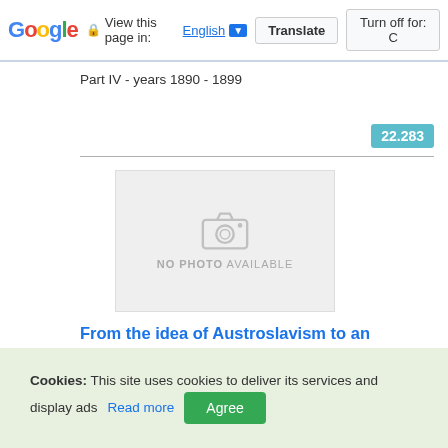Google — View this page in: English ▼ | Translate | Turn off for: C
Part IV - years 1890 - 1899
22.283
[Figure (photo): No photo available placeholder image with camera icon]
From the idea of Austroslavism to an independent Czechoslovakia - day after day (part 5)
Cookies: This site uses cookies to deliver its services and display ads Read more Agree